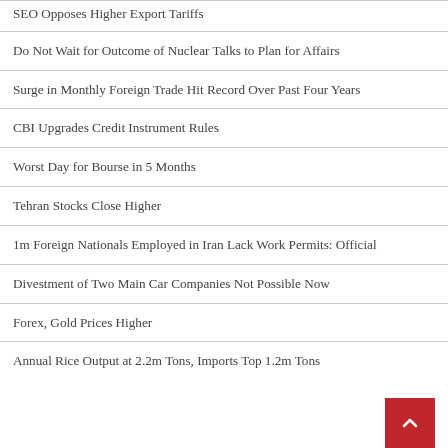SEO Opposes Higher Export Tariffs
Do Not Wait for Outcome of Nuclear Talks to Plan for Affairs
Surge in Monthly Foreign Trade Hit Record Over Past Four Years
CBI Upgrades Credit Instrument Rules
Worst Day for Bourse in 5 Months
Tehran Stocks Close Higher
1m Foreign Nationals Employed in Iran Lack Work Permits: Official
Divestment of Two Main Car Companies Not Possible Now
Forex, Gold Prices Higher
Annual Rice Output at 2.2m Tons, Imports Top 1.2m Tons